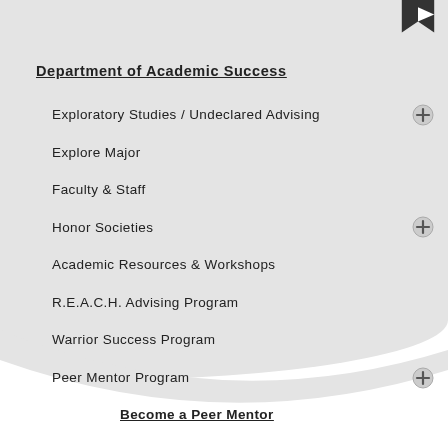Department of Academic Success
Exploratory Studies / Undeclared Advising
Explore Major
Faculty & Staff
Honor Societies
Academic Resources & Workshops
R.E.A.C.H. Advising Program
Warrior Success Program
Peer Mentor Program
Become a Peer Mentor
Warrior Tutoring Center